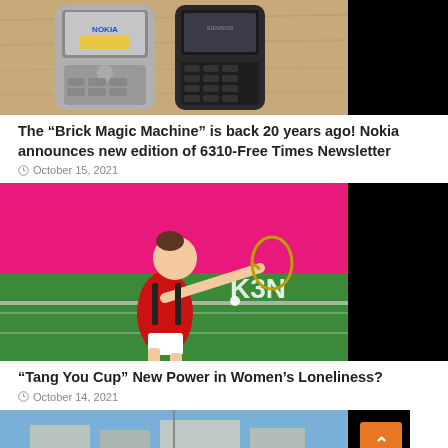[Figure (photo): Two Nokia mobile phones (Nokia 6310 models) placed on a wooden surface, one silver/grey and one black, photographed from above. Right portion of image is black.]
The “Brick Magic Machine” is back 20 years ago! Nokia announces new edition of 6310-Free Times Newsletter
October 15, 2021
[Figure (photo): A female badminton player in a red and white outfit hitting a shuttlecock at a tournament, with a green court and pink background showing partial sponsor text 'K3N'. Right portion is black.]
“Tang You Cup” New Power in Women’s Loneliness?
October 14, 2021
[Figure (photo): Aerial view of a large city complex or government/institutional building with surrounding roads and urban layout. Right portion partially cut off or black.]